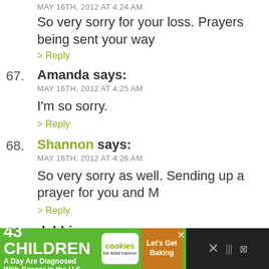MAY 16TH, 2012 AT 4:24 AM
So very sorry for your loss. Prayers being sent your way
> Reply
67. Amanda says: MAY 16TH, 2012 AT 4:25 AM — I'm so sorry. > Reply
68. Shannon says: MAY 16TH, 2012 AT 4:26 AM — So very sorry as well. Sending up a prayer for you and M > Reply
69. debbie says: MAY 16TH, 2012 AT 4:27 AM — So very sorry for your loss.
[Figure (infographic): Green advertisement banner: '43 CHILDREN A Day Are Diagnosed With Cancer in the U.S.' with Cookies for Kids' Cancer logo and 'Let's Get Baking' cookie image on dark background]